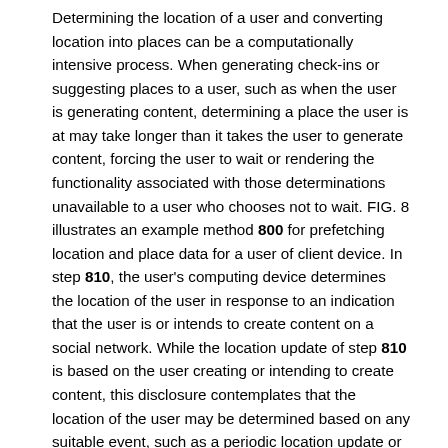Determining the location of a user and converting location into places can be a computationally intensive process. When generating check-ins or suggesting places to a user, such as when the user is generating content, determining a place the user is at may take longer than it takes the user to generate content, forcing the user to wait or rendering the functionality associated with those determinations unavailable to a user who chooses not to wait. FIG. 8 illustrates an example method 800 for prefetching location and place data for a user of client device. In step 810, the user's computing device determines the location of the user in response to an indication that the user is or intends to create content on a social network. While the location update of step 810 is based on the user creating or intending to create content, this disclosure contemplates that the location of the user may be determined based on any suitable event, such as a periodic location update or a user-requested location update. This disclosure contemplates any suitable method for determining the location of a user, and contemplates any suitable indication that the user is or intends to create content. In particular embodiments, determining the location of a user involves accessing a previously determined location of the